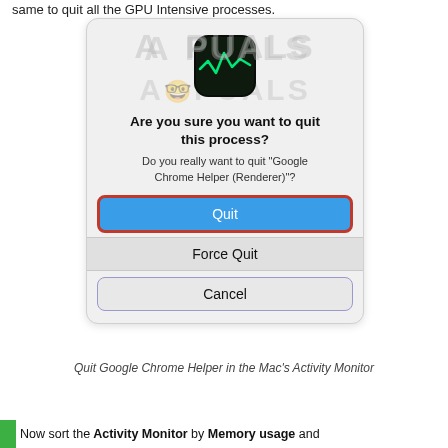same to quit all the GPU Intensive processes.
[Figure (screenshot): macOS Activity Monitor dialog asking 'Are you sure you want to quit this process?' with subtitle 'Do you really want to quit "Google Chrome Helper (Renderer)"?' and three buttons: Quit (blue, highlighted with red border), Force Quit, and Cancel. An Activity Monitor app icon is shown at the top. The dialog has an Appuals watermark.]
Quit Google Chrome Helper in the Mac's Activity Monitor
Now sort the Activity Monitor by Memory usage and